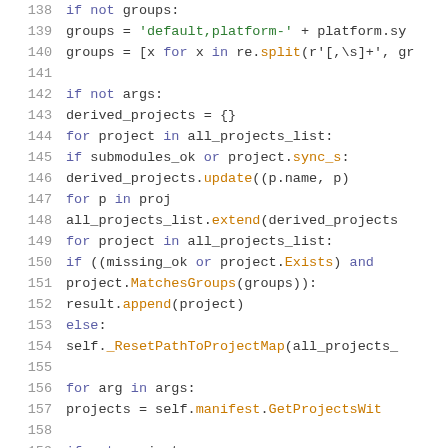Code snippet showing Python source code lines 138-159